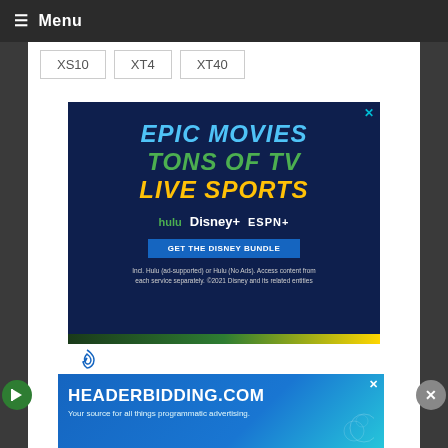≡ Menu
XS10
XT4
XT40
[Figure (screenshot): Disney Bundle advertisement on dark blue background. Text: EPIC MOVIES (blue), TONS OF TV (green), LIVE SPORTS (yellow/orange). Logos: hulu, Disney+, ESPN+. Button: GET THE DISNEY BUNDLE. Fine print: Incl. Hulu (ad-supported) or Hulu (No Ads). Access content from each service separately. ©2021 Disney and its related entities]
[Figure (screenshot): Headerbidding.com advertisement. Text: HEADERBIDDING.COM - Your source for all things programmatic advertising.]